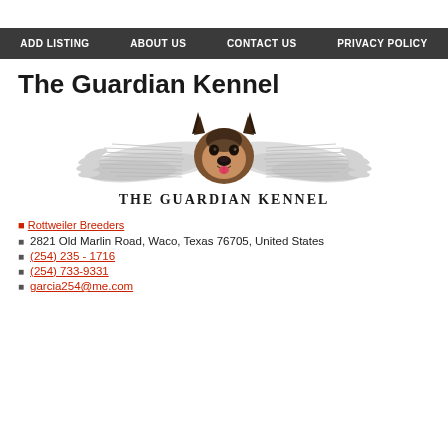ADD LISTING   ABOUT US   CONTACT US   PRIVACY POLICY
The Guardian Kennel
[Figure (logo): Logo of The Guardian Kennel: a German Shepherd dog face with large white angel wings spread to either side, and the text 'THE GUARDIAN KENNEL' below in bold serif uppercase letters.]
🔲 Rottweiler Breeders
🔲 2821 Old Marlin Road, Waco, Texas 76705, United States
🔲 (254) 235 - 1716
🔲 (254) 733-9331
🔲 garcia254@me.com